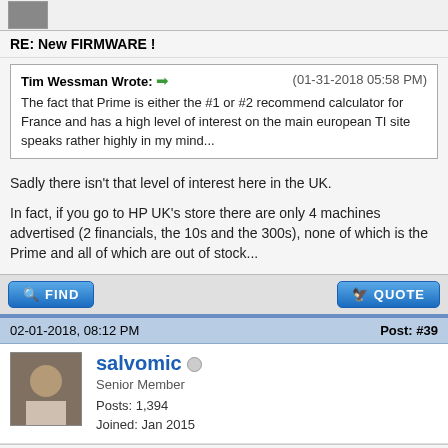[Figure (photo): User avatar thumbnail at top of page]
RE: New FIRMWARE !
Tim Wessman Wrote: (01-31-2018 05:58 PM)
The fact that Prime is either the #1 or #2 recommend calculator for France and has a high level of interest on the main european TI site speaks rather highly in my mind...
Sadly there isn't that level of interest here in the UK.
In fact, if you go to HP UK's store there are only 4 machines advertised (2 financials, the 10s and the 300s), none of which is the Prime and all of which are out of stock...
FIND    QUOTE
02-01-2018, 08:12 PM    Post: #39
[Figure (photo): salvomic user avatar photo]
salvomic
Senior Member
Posts: 1,394
Joined: Jan 2015
RE: New FIRMWARE !
striegel Wrote: (02-01-2018 07:29 PM)